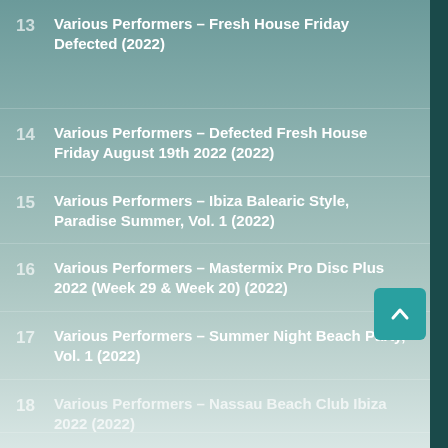13  Various Performers – Fresh House Friday Defected (2022)
14  Various Performers – Defected Fresh House Friday August 19th 2022 (2022)
15  Various Performers – Ibiza Balearic Style, Paradise Summer, Vol. 1 (2022)
16  Various Performers – Mastermix Pro Disc Plus 2022 (Week 29 & Week 20) (2022)
17  Various Performers – Summer Night Beach Party, Vol. 1 (2022)
18  Various Performers – Nassau Beach Club Ibiza 2022 (2022)
19  Various Performers – [partially visible] (2022)